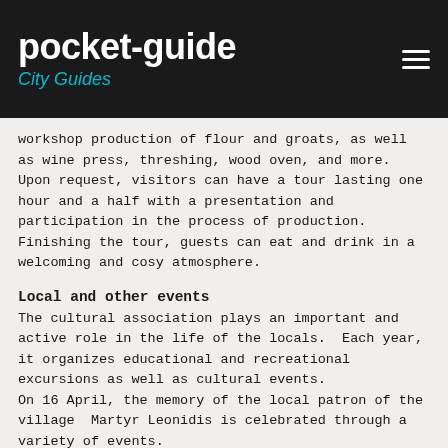pocket-guide
City Guides
workshop production of flour and groats, as well as wine press, threshing, wood oven, and more. Upon request, visitors can have a tour lasting one hour and a half with a presentation and participation in the process of production.  Finishing the tour, guests can eat and drink in a welcoming and cosy atmosphere.
Local and other events
The cultural association plays an important and active role in the life of the locals.  Each year, it organizes educational and recreational excursions as well as cultural events.
On 16 April, the memory of the local patron of the village  Martyr Leonidis is celebrated through a variety of events.
Each year on 6 August, the Ascension of Christ is celebrated with traditional festival, giving you the opportunity to experience a different kind of human contact and recreation.
On  December 20 of each year, the representatives of political and military leadership, the local governments and many people commemorate the anniversary of the  First